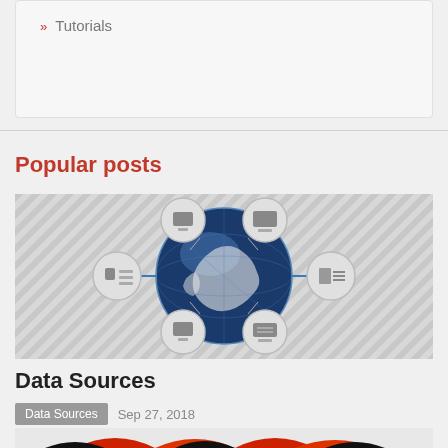» Tutorials
Popular posts
[Figure (illustration): Globe illustration showing Earth centered on Asia, surrounded by circular icons representing various data/communication concepts connected by lines, on a grey striped background.]
Data Sources
Data Sources   Sep 27, 2018
[Figure (illustration): Partial bottom image showing orange/red and black graphic design elements, cropped at page bottom.]